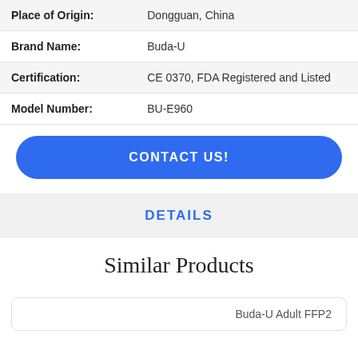| Place of Origin: | Dongguan, China |
| Brand Name: | Buda-U |
| Certification: | CE 0370, FDA Registered and Listed |
| Model Number: | BU-E960 |
CONTACT US!
DETAILS
Similar Products
Buda-U Adult FFP2